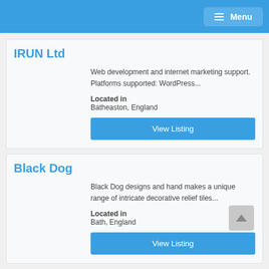Menu
IRUN Ltd
Web development and internet marketing support. Platforms supported: WordPress...
Located in
Batheaston, England
View Listing
Black Dog
Black Dog designs and hand makes a unique range of intricate decorative relief tiles...
Located in
Bath, England
View Listing